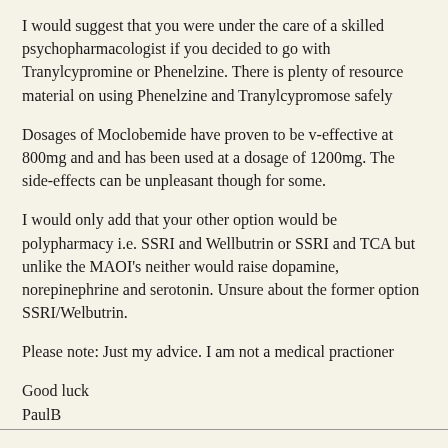I would suggest that you were under the care of a skilled psychopharmacologist if you decided to go with Tranylcypromine or Phenelzine. There is plenty of resource material on using Phenelzine and Tranylcypromose safely
Dosages of Moclobemide have proven to be v-effective at 800mg and and has been used at a dosage of 1200mg. The side-effects can be unpleasant though for some.
I would only add that your other option would be polypharmacy i.e. SSRI and Wellbutrin or SSRI and TCA but unlike the MAOI's neither would raise dopamine, norepinephrine and serotonin. Unsure about the former option SSRI/Welbutrin.
Please note: Just my advice. I am not a medical practioner
Good luck
PaulB